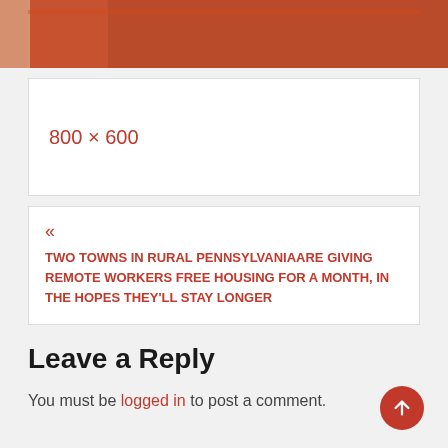[Figure (photo): Partial view of an orange/red metal structure against a brick wall background]
800 × 600
« TWO TOWNS IN RURAL PENNSYLVANIAARE GIVING REMOTE WORKERS FREE HOUSING FOR A MONTH, IN THE HOPES THEY'LL STAY LONGER
Leave a Reply
You must be logged in to post a comment.